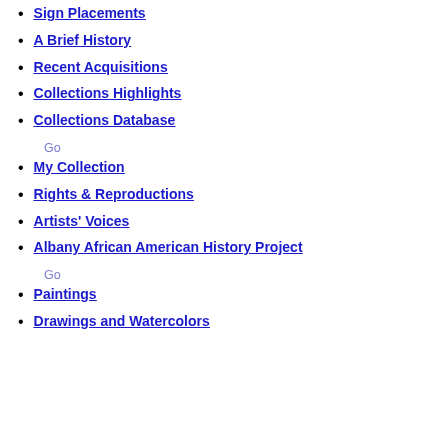Sign Placements
A Brief History
Recent Acquisitions
Collections Highlights
Collections Database
Go
My Collection
Rights & Reproductions
Artists' Voices
Albany African American History Project
Go
Paintings
Drawings and Watercolors